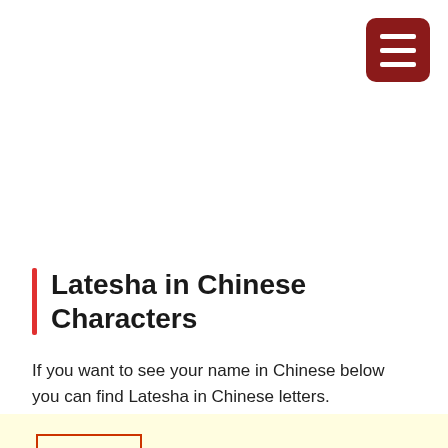[Figure (other): Dark red hamburger menu button icon in top right corner]
Latesha in Chinese Characters
If you want to see your name in Chinese below you can find Latesha in Chinese letters.
□□□